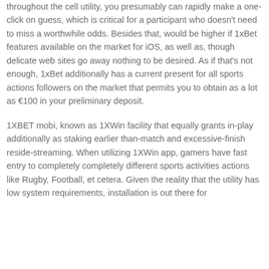throughout the cell utility, you presumably can rapidly make a one-click on guess, which is critical for a participant who doesn't need to miss a worthwhile odds. Besides that, would be higher if 1xBet features available on the market for iOS, as well as, though delicate web sites go away nothing to be desired. As if that's not enough, 1xBet additionally has a current present for all sports actions followers on the market that permits you to obtain as a lot as €100 in your preliminary deposit.
1XBET mobi, known as 1XWin facility that equally grants in-play additionally as staking earlier than-match and excessive-finish reside-streaming. When utilizing 1XWin app, gamers have fast entry to completely completely different sports activities actions like Rugby, Football, et cetera. Given the reality that the utility has low system requirements, installation is out there for